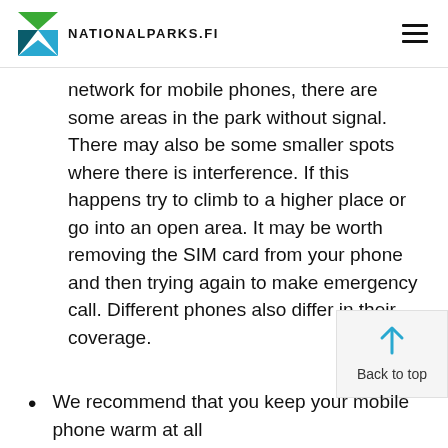NATIONALPARKS.FI
network for mobile phones, there are some areas in the park without signal. There may also be some smaller spots where there is interference. If this happens try to climb to a higher place or go into an open area. It may be worth removing the SIM card from your phone and then trying again to make emergency call. Different phones also differ in their coverage.
We recommend that you keep your mobile phone warm at all